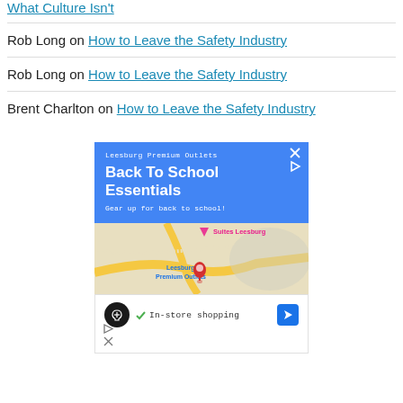What Culture Isn't
Rob Long on How to Leave the Safety Industry
Rob Long on How to Leave the Safety Industry
Brent Charlton on How to Leave the Safety Industry
[Figure (screenshot): Advertisement for Leesburg Premium Outlets: Back To School Essentials. Blue banner with text 'Leesburg Premium Outlets', 'Back To School Essentials', 'Gear up for back to school!'. Below is a map showing Leesburg Premium Outlets location. Bottom section shows a circular logo, a checkmark with 'In-store shopping', and a navigation arrow button.]